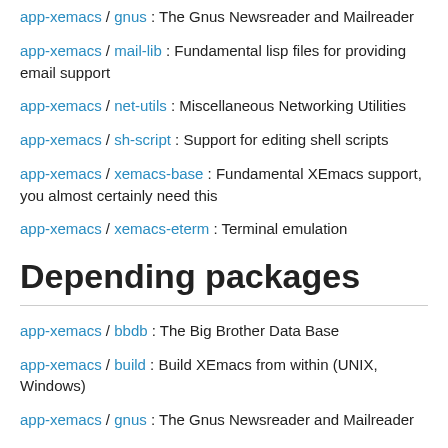app-xemacs / gnus : The Gnus Newsreader and Mailreader
app-xemacs / mail-lib : Fundamental lisp files for providing email support
app-xemacs / net-utils : Miscellaneous Networking Utilities
app-xemacs / sh-script : Support for editing shell scripts
app-xemacs / xemacs-base : Fundamental XEmacs support, you almost certainly need this
app-xemacs / xemacs-eterm : Terminal emulation
Depending packages
app-xemacs / bbdb : The Big Brother Data Base
app-xemacs / build : Build XEmacs from within (UNIX, Windows)
app-xemacs / gnus : The Gnus Newsreader and Mailreader
app-xemacs / mew : Messaging in an Emacs World
app-xemacs / prog-modes : Support for various programming